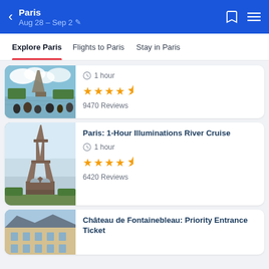Paris Aug 28 – Sep 2
Explore Paris | Flights to Paris | Stay in Paris
[Figure (photo): Eiffel Tower viewed from a river cruise boat with tourists in foreground]
1 hour
4.5 stars
9470 Reviews
[Figure (photo): Eiffel Tower close-up view from below against blue sky]
Paris: 1-Hour Illuminations River Cruise
1 hour
4.5 stars
6420 Reviews
[Figure (photo): Château de Fontainebleau exterior facade]
Château de Fontainebleau: Priority Entrance Ticket